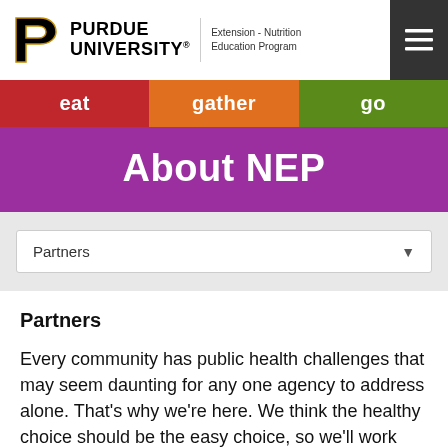Purdue University Extension - Nutrition Education Program
eat | gather | go
About NEP
Partners (dropdown)
Partners
Every community has public health challenges that may seem daunting for any one agency to address alone. That's why we're here. We think the healthy choice should be the easy choice, so we'll work with you to